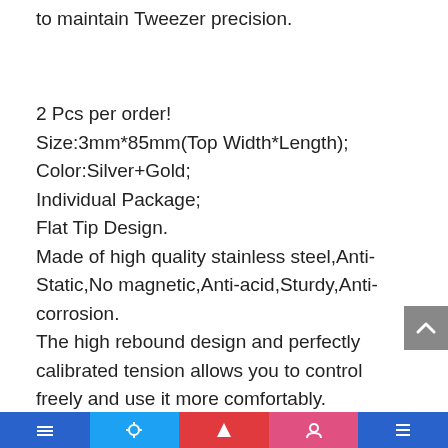to maintain Tweezer precision.
2 Pcs per order!
Size:3mm*85mm(Top Width*Length);
Color:Silver+Gold;
Individual Package;
Flat Tip Design.
Made of high quality stainless steel,Anti-Static,No magnetic,Anti-acid,Sturdy,Anti-corrosion.
The high rebound design and perfectly calibrated tension allows you to control freely and use it more comfortably.
Hand-polished,fine workmanship,easily pinch fine hair,help you reduced involvement for the skin when use it.
Great for plucking eyebrows,ingrown hair,facial hairbeard broken hair,blackhead,tick,etc.Durable and easy to